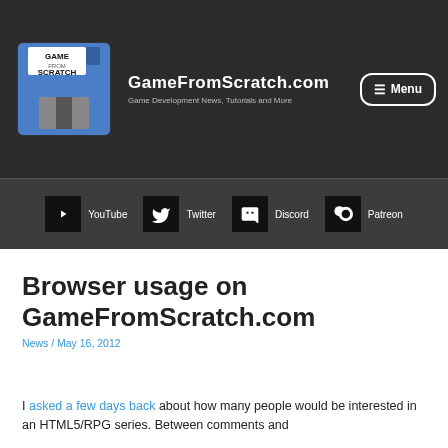GameFromScratch.com — Game Development News, Tutorials and More
Browser usage on GameFromScratch.com
News / May 16, 2012
I asked a few days back about how many people would be interested in an HTML5/RPG series.  Between comments and